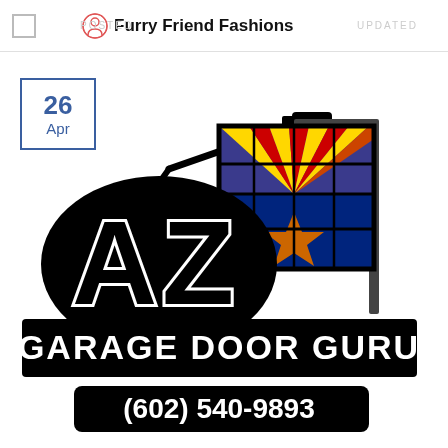Furry Friend Fashions
26
Apr
[Figure (logo): AZ Garage Door Guru logo with Arizona state flag garage door graphic, 'AZ' letters in black with white outline, 'GARAGE DOOR GURU' on black banner, phone number (602) 540-9893 below]